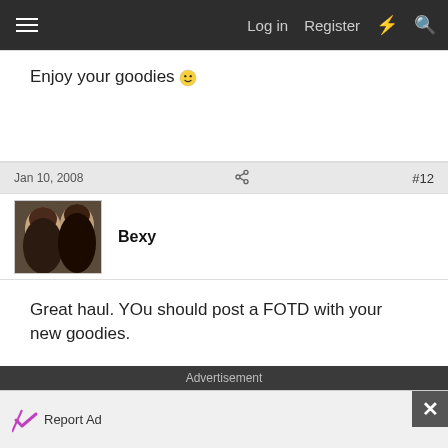Log in  Register
Enjoy your goodies 🙂
Jan 10, 2008  #12
Bexy
Great haul. YOu should post a FOTD with your new goodies.
Advertisement
Report Ad